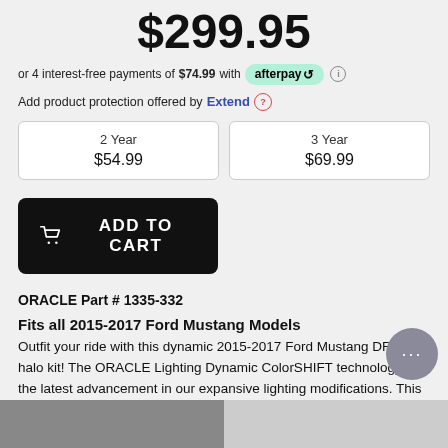$299.95
or 4 interest-free payments of $74.99 with afterpay
Add product protection offered by Extend
| 2 Year
$54.99 | 3 Year
$69.99 |
ADD TO CART
ORACLE Part # 1335-332
Fits all 2015-2017 Ford Mustang Models
Outfit your ride with this dynamic 2015-2017 Ford Mustang DRL + halo kit! The ORACLE Lighting Dynamic ColorSHIFT technology is the latest advancement in our expansive lighting modifications. This featu the user to run multiple moving color patterns through the produ g a vivid eye-catching lighting effect.
[Figure (photo): Bottom strip showing partial product/lifestyle photos]